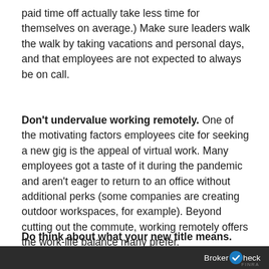paid time off actually take less time for themselves on average.) Make sure leaders walk the walk by taking vacations and personal days, and that employees are not expected to always be on call.
Don't undervalue working remotely. One of the motivating factors employees cite for seeking a new gig is the appeal of virtual work. Many employees got a taste of it during the pandemic and aren't eager to return to an office without additional perks (some companies are creating outdoor workspaces, for example). Beyond cutting out the commute, working remotely offers the work-life balance many prefer.
Do think about what your new title means. Your title can seem arbitrary if the work environm...
BrokerCheck